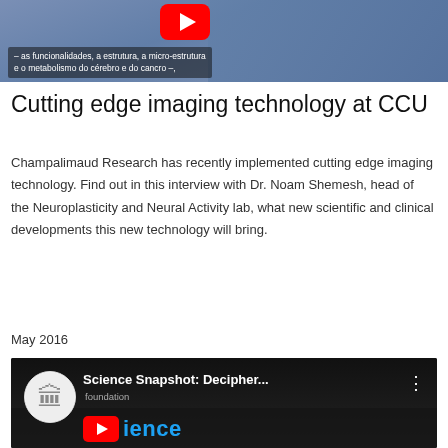[Figure (screenshot): YouTube video thumbnail showing a person in a blue lab coat/surgical gown with subtitle text in Portuguese: '– as funcionalidades, a estrutura, a micro-estrutura e o metabolismo do cérebro e do cancro –,']
Cutting edge imaging technology at CCU
Champalimaud Research has recently implemented cutting edge imaging technology. Find out in this interview with Dr. Noam Shemesh, head of the Neuroplasticity and Neural Activity lab, what new scientific and clinical developments this new technology will bring.
May 2016
[Figure (screenshot): YouTube video thumbnail for 'Science Snapshot: Decipher...' showing a dark background with blue text 'ience' and a YouTube play button logo partially visible]